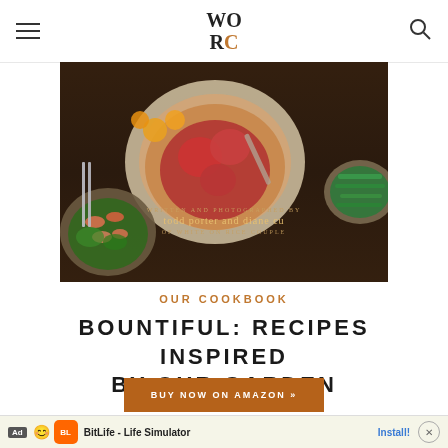WO RC
[Figure (photo): Overhead food photography showing a rustic tomato galette/tart on a wooden table with a bowl of green beans with almonds, a shrimp and greens salad, orange cherry tomatoes, silverware. Text overlay reads 'written and photographed by todd porter and diane cu of white on rice couple'.]
OUR COOKBOOK
BOUNTIFUL: RECIPES INSPIRED BY OUR GARDEN
BUY NOW ON AMAZON »